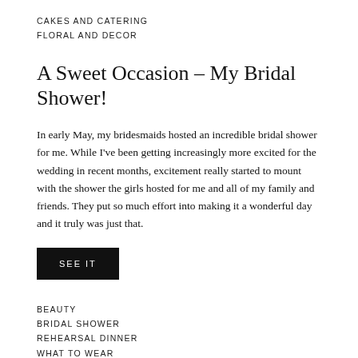CAKES AND CATERING
FLORAL AND DECOR
A Sweet Occasion – My Bridal Shower!
In early May, my bridesmaids hosted an incredible bridal shower for me. While I've been getting increasingly more excited for the wedding in recent months, excitement really started to mount with the shower the girls hosted for me and all of my family and friends. They put so much effort into making it a wonderful day and it truly was just that.
SEE IT
BEAUTY
BRIDAL SHOWER
REHEARSAL DINNER
WHAT TO WEAR
The Other Dresses